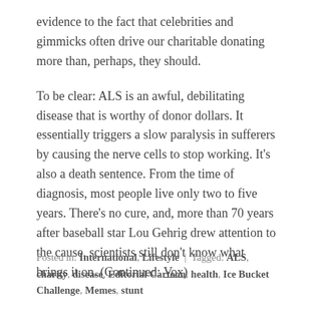evidence to the fact that celebrities and gimmicks often drive our charitable donating more than, perhaps, they should.
To be clear: ALS is an awful, debilitating disease that is worthy of donor dollars. It essentially triggers a slow paralysis in sufferers by causing the nerve cells to stop working. It's also a death sentence. From the time of diagnosis, most people live only two to five years. There's no cure, and, more than 70 years after baseball star Lou Gehrig drew attention to the cause, scientists still don't know what brings it on. (Continued: Vox)
Posted in: International, Lifestyle | Tagged: ALS, charity, disease, Editorial Cartoon, health, Ice Bucket Challenge, Memes, stunt